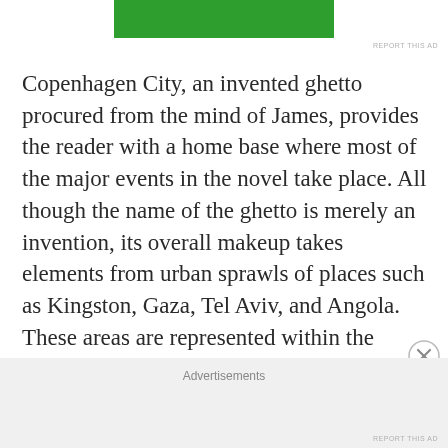[Figure (other): Green advertisement banner at top of page]
Copenhagen City, an invented ghetto procured from the mind of James, provides the reader with a home base where most of the major events in the novel take place. All though the name of the ghetto is merely an invention, its overall makeup takes elements from urban sprawls of places such as Kingston, Gaza, Tel Aviv, and Angola. These areas are represented within the conflict that exists in Jamaica during this time,
Advertisements